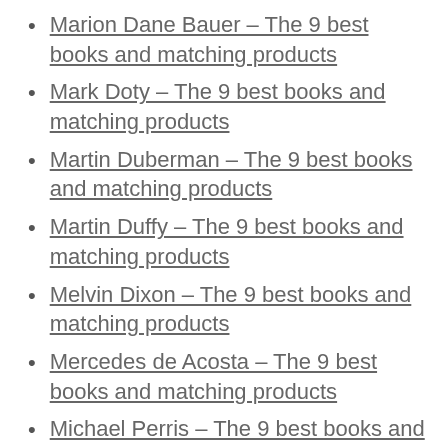Marion Dane Bauer – The 9 best books and matching products
Mark Doty – The 9 best books and matching products
Martin Duberman – The 9 best books and matching products
Martin Duffy – The 9 best books and matching products
Melvin Dixon – The 9 best books and matching products
Mercedes de Acosta – The 9 best books and matching products
Michael Perris – The 9 best books and